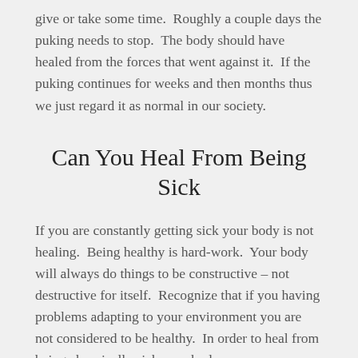give or take some time.  Roughly a couple days the puking needs to stop.  The body should have healed from the forces that went against it.  If the puking continues for weeks and then months thus we just regard it as normal in our society.
Can You Heal From Being Sick
If you are constantly getting sick your body is not healing.  Being healthy is hard-work.  Your body will always do things to be constructive – not destructive for itself.  Recognize that if you having problems adapting to your environment you are not considered to be healthy.  In order to heal from being chronically sick your body